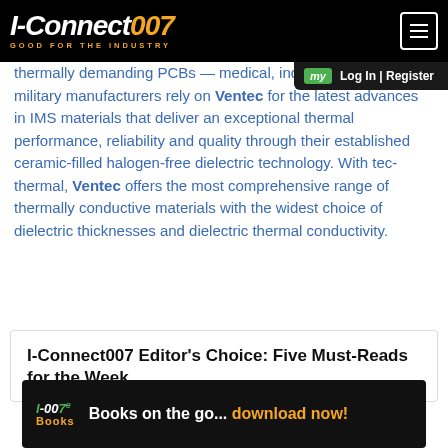I-Connect007 · Good for the Industry
thermally demanding PCBs — medical, industrial, aerospace military manufacturers rely on Ventec for the latest advances in IMS materials that deliver an exceptional thermal performance, reliability and quality through their established ceramic-filled halogen-free dielectric technology. With tec-thermal, Ventec offers the most comprehensive range of thermally conductive materials with the widest choice of dielectric thicknesses and dielectric thermal conductivity.
I-Connect007 Editor's Choice: Five Must-Reads for the Week
[Figure (infographic): I-007e Books ad banner: Books on the go... download now!]